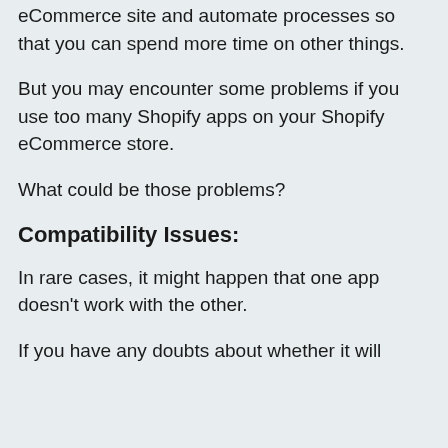eCommerce site and automate processes so that you can spend more time on other things.
But you may encounter some problems if you use too many Shopify apps on your Shopify eCommerce store.
What could be those problems?
Compatibility Issues:
In rare cases, it might happen that one app doesn't work with the other.
If you have any doubts about whether it will